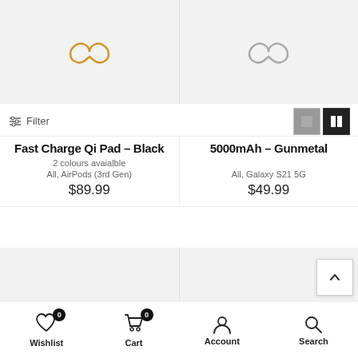[Figure (screenshot): Two product placeholder images side by side showing infinity loop brand logos (orange on left, grey on right) on grey backgrounds]
Filter
[Figure (other): Grid view toggle icons - one grey square and one black double-column icon]
Fast Charge Qi Pad - Black
5000mAh - Gunmetal
2 colours avaialble
All, AirPods (3rd Gen)
All, Galaxy S21 5G
$89.99
$49.99
[Figure (screenshot): Two more product placeholder image areas with grey backgrounds]
Wishlist  Cart  Account  Search